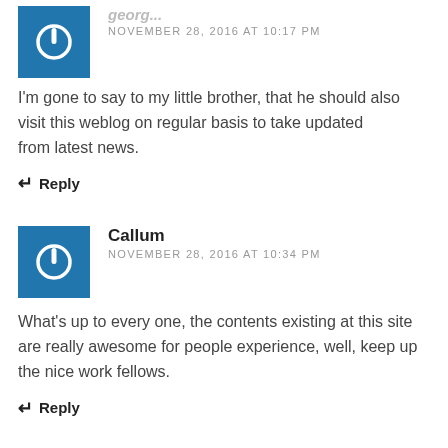[Figure (logo): Blue square avatar with white power button icon]
Georgia
NOVEMBER 28, 2016 AT 10:17 PM
I'm gone to say to my little brother, that he should also visit this weblog on regular basis to take updated from latest news.
Reply
[Figure (logo): Blue square avatar with white power button icon]
Callum
NOVEMBER 28, 2016 AT 10:34 PM
What's up to every one, the contents existing at this site are really awesome for people experience, well, keep up the nice work fellows.
Reply